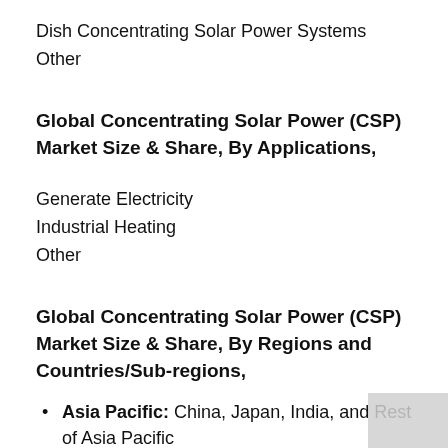Dish Concentrating Solar Power Systems
Other
Global Concentrating Solar Power (CSP) Market Size & Share, By Applications,
Generate Electricity
Industrial Heating
Other
Global Concentrating Solar Power (CSP) Market Size & Share, By Regions and Countries/Sub-regions,
Asia Pacific: China, Japan, India, and Rest of Asia Pacific
Europe: Germany, the UK, France, and Rest of Europe